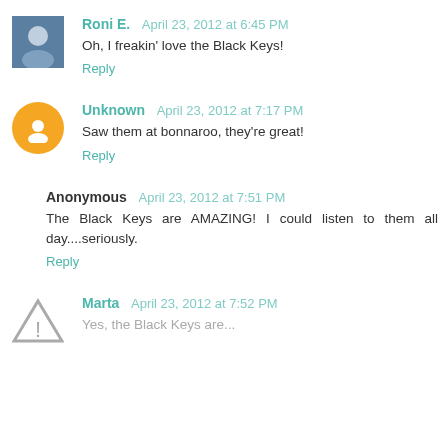Roni E.  April 23, 2012 at 6:45 PM
Oh, I freakin' love the Black Keys!
Reply
Unknown  April 23, 2012 at 7:17 PM
Saw them at bonnaroo, they're great!
Reply
Anonymous  April 23, 2012 at 7:51 PM
The Black Keys are AMAZING! I could listen to them all day....seriously.
Reply
Marta  April 23, 2012 at 7:52 PM
Yes, the Black Keys are...